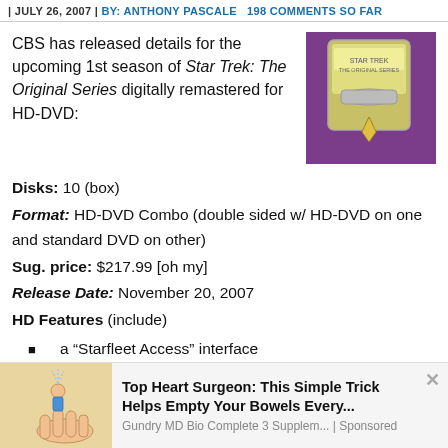| JULY 26, 2007 | BY: ANTHONY PASCALE   198 COMMENTS SO FAR
CBS has released details for the upcoming 1st season of Star Trek: The Original Series digitally remastered for HD-DVD:
[Figure (photo): Photo of Star Trek HD-DVD box set with yellow/silver packaging and Starfleet insignia]
Disks: 10 (box)
Format: HD-DVD Combo (double sided w/ HD-DVD on one and standard DVD on other)
Sug. price: $217.99 [oh my]
Release Date: November 20, 2007
HD Features (include)
a “Starfleet Access” interface
picture-in-picture video commentaries, comparisons of re-mastered vs. original
[Figure (illustration): Advertisement illustration showing a hand with a small figure, promoting a health supplement]
Top Heart Surgeon: This Simple Trick Helps Empty Your Bowels Every...
Gundry MD Bio Complete 3 Supplem... | Sponsored